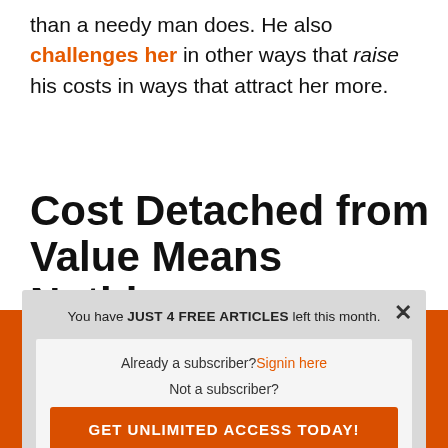than a needy man does. He also challenges her in other ways that raise his costs in ways that attract her more.
Cost Detached from Value Means Nothing
You have JUST 4 FREE ARTICLES left this month. Already a subscriber? Signin here. Not a subscriber? GET UNLIMITED ACCESS TODAY!